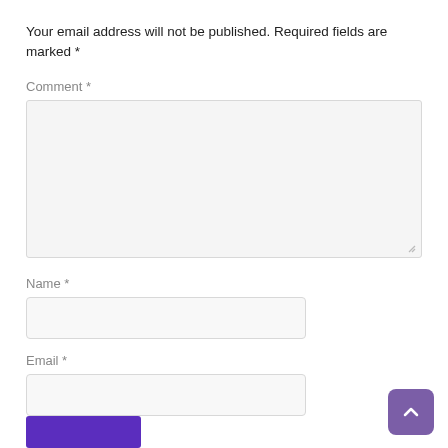Your email address will not be published. Required fields are marked *
Comment *
[Figure (other): Comment text area input field (large, light gray background)]
Name *
[Figure (other): Name input field (light gray background)]
Email *
[Figure (other): Email input field (light gray background)]
Website
[Figure (other): Website input field (light gray background)]
Notify me of follow-up comments by email.